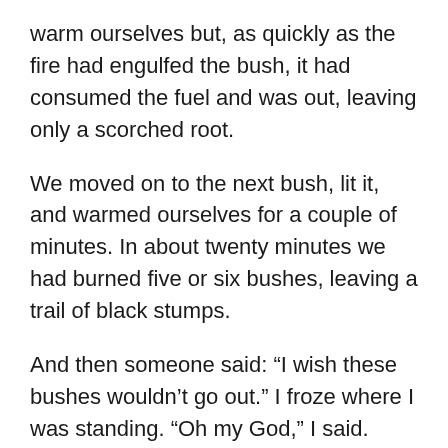warm ourselves but, as quickly as the fire had engulfed the bush, it had consumed the fuel and was out, leaving only a scorched root.
We moved on to the next bush, lit it, and warmed ourselves for a couple of minutes. In about twenty minutes we had burned five or six bushes, leaving a trail of black stumps.
And then someone said: “I wish these bushes wouldn’t go out.” I froze where I was standing. “Oh my God,” I said. Then, “Guys, I just realized something: this is the origin of the story of Moses and the burning bush.” Most ignored me, but a few gave me quizzical looks. “People have been freezing in this desert for thousands of years. And for thousands of years the only available wood has been these bushes. What would a miracle be here in this